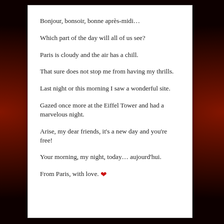Bonjour, bonsoir, bonne après-midi…
Which part of the day will all of us see?
Paris is cloudy and the air has a chill.
That sure does not stop me from having my thrills.
Last night or this morning I saw a wonderful site.
Gazed once more at the Eiffel Tower and had a marvelous night.
Arise, my dear friends, it's a new day and you're free!
Your morning, my night, today… aujourd'hui.
From Paris, with love. ❤